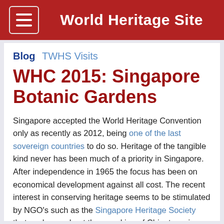World Heritage Site
Blog  TWHS Visits
WHC 2015: Singapore Botanic Gardens
Singapore accepted the World Heritage Convention only as recently as 2012, being one of the last sovereign countries to do so. Heritage of the tangible kind never has been much of a priority in Singapore. After independence in 1965 the focus has been on economical development against all cost. The recent interest in conserving heritage seems to be stimulated by NGO's such as the Singapore Heritage Society that spoke up about the remaking of Chinatown in 1998 and the demolition of the National Library building at